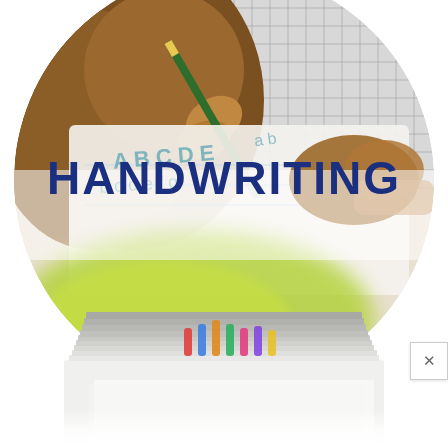[Figure (photo): Circular cropped photo of a person's dark-skinned hands holding a pencil and writing alphabet letters on a worksheet, wearing a plaid/grid-pattern shirt. The word HANDWRITING appears in large bold dark navy text overlaid on the lower portion of the circle. Below the circle, a partial photo of a stack of papers with colorful paper clips is visible. A small close/X button appears at the bottom right.]